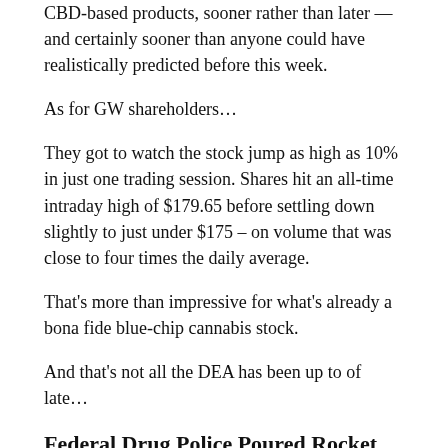CBD-based products, sooner rather than later — and certainly sooner than anyone could have realistically predicted before this week.
As for GW shareholders…
They got to watch the stock jump as high as 10% in just one trading session. Shares hit an all-time intraday high of $179.65 before settling down slightly to just under $175 – on volume that was close to four times the daily average.
That's more than impressive for what's already a bona fide blue-chip cannabis stock.
And that's not all the DEA has been up to of late…
Federal Drug Police Poured Rocket Fuel on Another Cannabis Big-Cap
Despite a Customs agent's ill-considered musings about visa denials for Canadian cannabis industry folks, the DEA opted about a week ago to push forward without a Congressional Act…